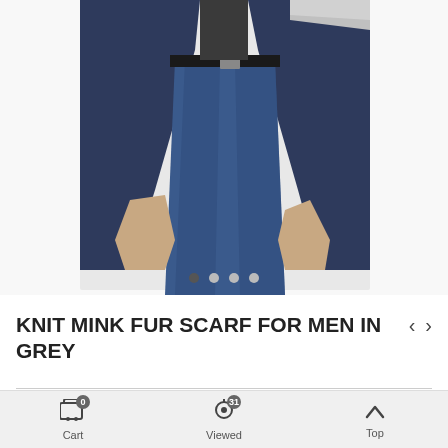[Figure (photo): Product photo of a man wearing a grey knit mink fur scarf with a navy blazer and blue jeans, cropped to show torso and hands area]
KNIT MINK FUR SCARF FOR MEN IN GREY
$314.95
or 4 interest-free payments of US $78.74 with sezzle
In Stock
Cart 0  Viewed 31  Top